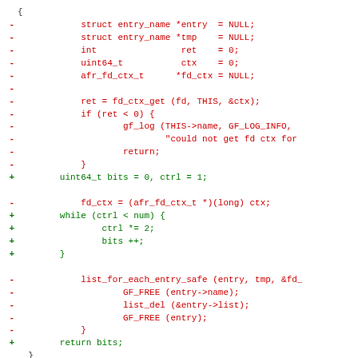code diff showing removed and added lines in a C function
[Figure (other): Source code diff showing removed lines (red, marked with -) and added lines (green, marked with +) in a C programming context]